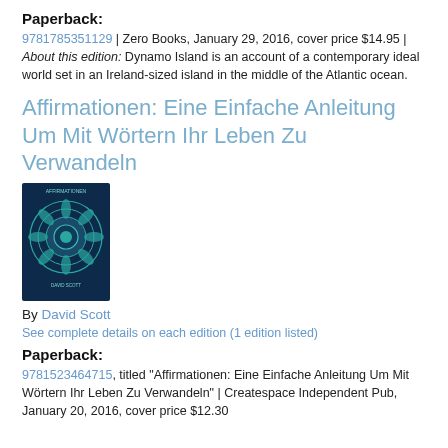Paperback:
9781785351129 | Zero Books, January 29, 2016, cover price $14.95 | About this edition: Dynamo Island is an account of a contemporary ideal world set in an Ireland-sized island in the middle of the Atlantic ocean.
Affirmationen: Eine Einfache Anleitung Um Mit Wörtern Ihr Leben Zu Verwandeln
[Figure (photo): Book cover of Affirmationen with teal mandala design on dark blue background]
By David Scott
See complete details on each edition (1 edition listed)
Paperback:
9781523464715, titled "Affirmationen: Eine Einfache Anleitung Um Mit Wörtern Ihr Leben Zu Verwandeln" | Createspace Independent Pub, January 20, 2016, cover price $12.30